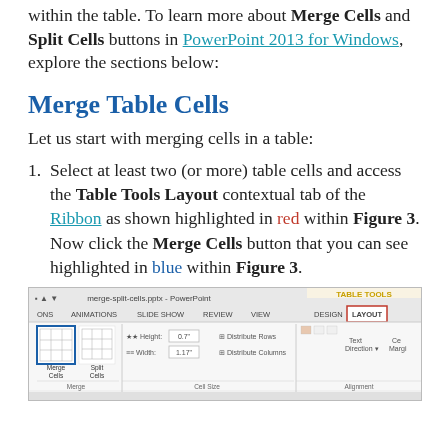within the table. To learn more about Merge Cells and Split Cells buttons in PowerPoint 2013 for Windows, explore the sections below:
Merge Table Cells
Let us start with merging cells in a table:
1. Select at least two (or more) table cells and access the Table Tools Layout contextual tab of the Ribbon as shown highlighted in red within Figure 3. Now click the Merge Cells button that you can see highlighted in blue within Figure 3.
[Figure (screenshot): Screenshot of PowerPoint ribbon showing Table Tools Layout tab with Merge Cells button highlighted in blue and LAYOUT tab highlighted in red. Toolbar shows merge-split-cells.pptx - PowerPoint with TABLE TOOLS section, DESIGN and LAYOUT tabs, ONS, ANIMATIONS, SLIDE SHOW, REVIEW, VIEW menu items, and Merge Cells, Split Cells, Height, Width, Distribute Rows, Distribute Columns, Text Direction, Margin controls.]